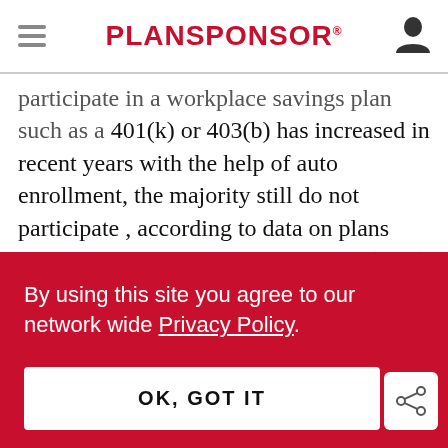PLANSPONSOR
participate in a workplace savings plan such as a 401(k) or 403(b) has increased in recent years with the help of auto enrollment, the majority still do not participate , according to data on plans Fidelity administers . Less than half (44%) of eligible workers in their 20s contribute to their workplace plans today Fidelity's quarterly release on trends in 401(k) industry suggests
By using this site you agree to our network wide Privacy Policy.
OK, GOT IT